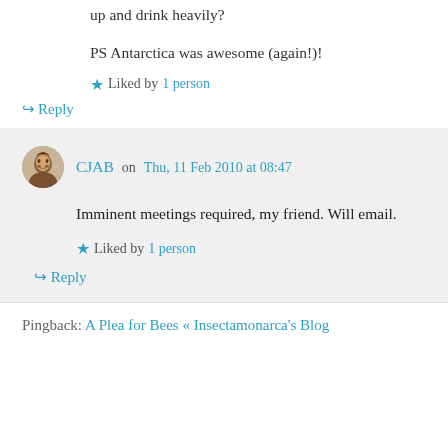up and drink heavily?
PS Antarctica was awesome (again!)!
Liked by 1 person
Reply
CJAB on Thu, 11 Feb 2010 at 08:47
Imminent meetings required, my friend. Will email.
Liked by 1 person
Reply
Pingback: A Plea for Bees « Insectamonarca's Blog